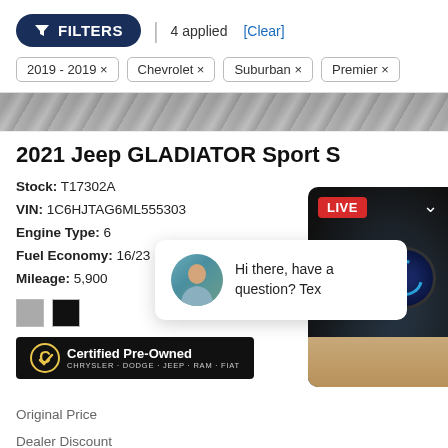[Figure (screenshot): Filters button with funnel icon on dark navy background, followed by '4 applied [Clear]' text]
2019 - 2019 ×
Chevrolet ×
Suburban ×
Premier ×
[Figure (photo): Partial vehicle image strip showing dark pavement/ground texture]
2021 Jeep GLADIATOR Sport S
Stock: T17302A
VIN: 1C6HJTAG6ML555303
Engine Type: 6
Fuel Economy: 16/23
Mileage: 5,900
[Figure (photo): Color swatches: gray and black]
[Figure (logo): Certified Pre-Owned Chrysler Dodge Jeep Ram Fiat badge on black background]
[Figure (photo): Live video panel showing car interior dashboard with dials, LIVE badge and chevron]
[Figure (photo): Chat popup with female agent avatar and text: Hi there, have a question? Tex...]
Original Price
Dealer Discount